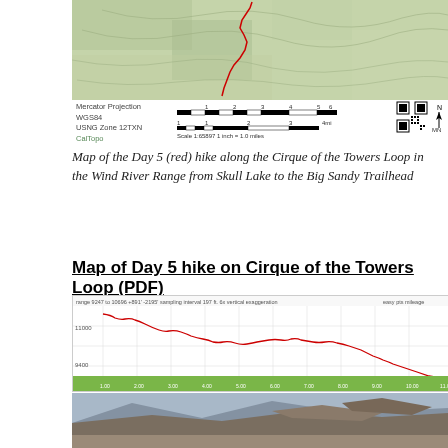[Figure (map): Topographic map of Day 5 hike along Cirque of the Towers Loop in Wind River Range, showing red trail line from Skull Lake to Big Sandy Trailhead. Includes Mercator Projection scale bar (1:65897, 1 inch = 1.0 miles), WGS84, USNG Zone 12TXN, QR code, and north arrow. CalTopo attribution.]
Map of the Day 5 (red) hike along the Cirque of the Towers Loop in the Wind River Range from Skull Lake to the Big Sandy Trailhead
Map of Day 5 hike on Cirque of the Towers Loop (PDF)
[Figure (continuous-plot): Elevation profile of Day 5 (red) hike along the Cirque of the Towers Loop in the Wind River Range from Skull Lake to the Big Sandy Trailhead. Y-axis shows elevation (approximately 9400 ft to 11000 ft range), X-axis shows distance intervals. Profile shows generally descending trend from approximately 11000 ft to 9400 ft with some variation. Green bar at bottom.]
Elevation Profile of the Day 5 (red) hike along the Cirque of the Towers Loop in the Wind River Range from Skull Lake to the Big Sandy Trailhead
[Figure (photo): Photograph of mountain landscape, likely in the Wind River Range, showing rocky peaks and mountainous terrain.]